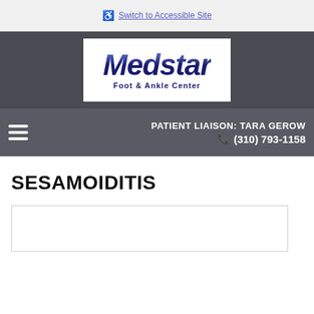♿ Switch to Accessible Site
[Figure (logo): Medstar Foot & Ankle Center logo — bold italic blue text 'Medstar' above 'Foot & Ankle Center' on white background]
PATIENT LIAISON: TARA GEROW
☎ (310) 793-1158
SESAMOIDITIS